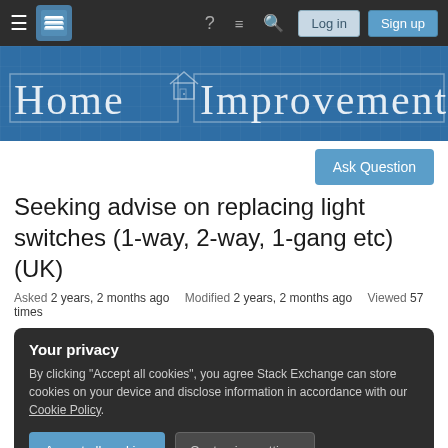Home Improvement Stack Exchange navigation bar with Login and Sign up buttons
[Figure (illustration): Home Improvement Stack Exchange banner with blueprint-style background and stylized text 'Home Improvement']
Ask Question
Seeking advise on replacing light switches (1-way, 2-way, 1-gang etc) (UK)
Asked 2 years, 2 months ago   Modified 2 years, 2 months ago   Viewed 57 times
Your privacy
By clicking "Accept all cookies", you agree Stack Exchange can store cookies on your device and disclose information in accordance with our Cookie Policy.
Accept all cookies   Customize settings
There are 5 rooms: Lets say Room 1 (hall), Room 2 (landing), and hall 3 (office)